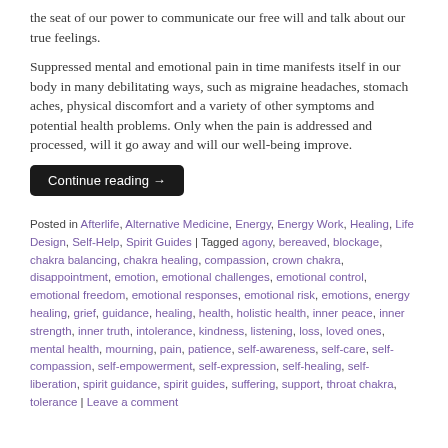the seat of our power to communicate our free will and talk about our true feelings.
Suppressed mental and emotional pain in time manifests itself in our body in many debilitating ways, such as migraine headaches, stomach aches, physical discomfort and a variety of other symptoms and potential health problems. Only when the pain is addressed and processed, will it go away and will our well-being improve.
Continue reading →
Posted in Afterlife, Alternative Medicine, Energy, Energy Work, Healing, Life Design, Self-Help, Spirit Guides | Tagged agony, bereaved, blockage, chakra balancing, chakra healing, compassion, crown chakra, disappointment, emotion, emotional challenges, emotional control, emotional freedom, emotional responses, emotional risk, emotions, energy healing, grief, guidance, healing, health, holistic health, inner peace, inner strength, inner truth, intolerance, kindness, listening, loss, loved ones, mental health, mourning, pain, patience, self-awareness, self-care, self-compassion, self-empowerment, self-expression, self-healing, self-liberation, spirit guidance, spirit guides, suffering, support, throat chakra, tolerance | Leave a comment